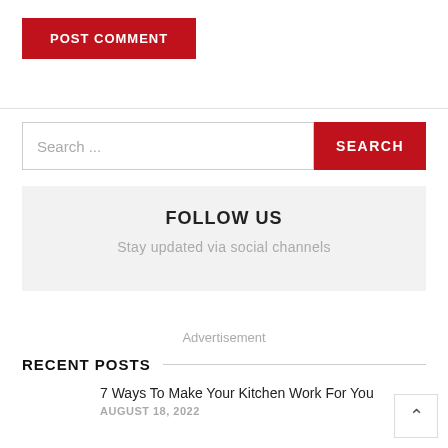POST COMMENT
Search ...
SEARCH
FOLLOW US
Stay updated via social channels
Advertisement
RECENT POSTS
7 Ways To Make Your Kitchen Work For You
AUGUST 18, 2022